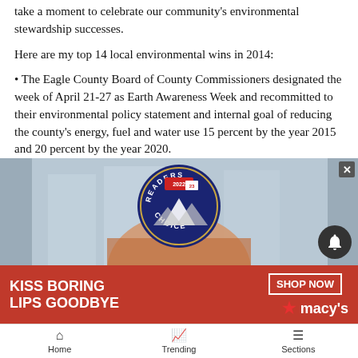take a moment to celebrate our community's environmental stewardship successes.
Here are my top 14 local environmental wins in 2014:
• The Eagle County Board of County Commissioners designated the week of April 21-27 as Earth Awareness Week and recommitted to their environmental policy statement and internal goal of reducing the county's energy, fuel and water use 15 percent by the year 2015 and 20 percent by the year 2020.
[Figure (other): Readers Choice badge 2022/23 award overlaid on a building background, with a Macy's advertisement banner below reading KISS BORING LIPS GOODBYE with SHOP NOW button]
Home  Trending  Sections